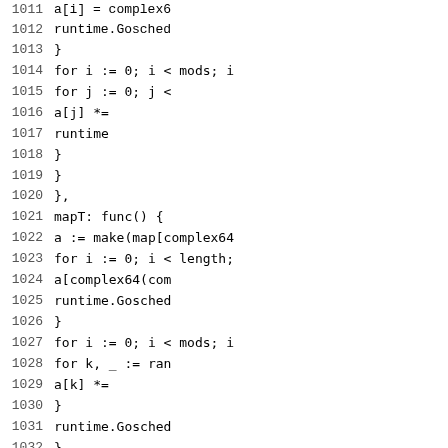Code listing lines 1011-1032 showing Go source code with line numbers. Contains nested for loops, runtime.Gosched() calls, map operations with complex64 keys, and function literals.